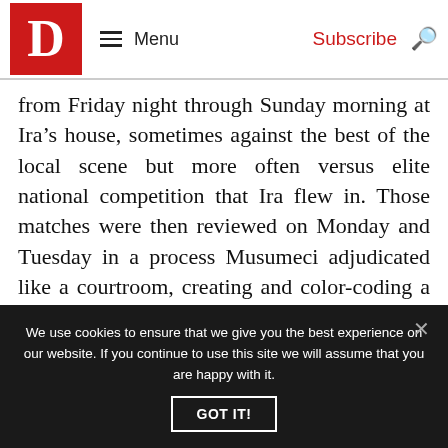D | Menu | Subscribe | [search icon]
from Friday night through Sunday morning at Ira’s house, sometimes against the best of the local scene but more often versus elite national competition that Ira flew in. Those matches were then reviewed on Monday and Tuesday in a process Musumeci adjudicated like a courtroom, creating and color-coding a system of charges that were levied against the players’ every misstep. Each hand was reviewed, each action scrutinized. Then, on Wednesday and Thursday, the individual partnerships fine-tuned
We use cookies to ensure that we give you the best experience on our website. If you continue to use this site we will assume that you are happy with it.
GOT IT!